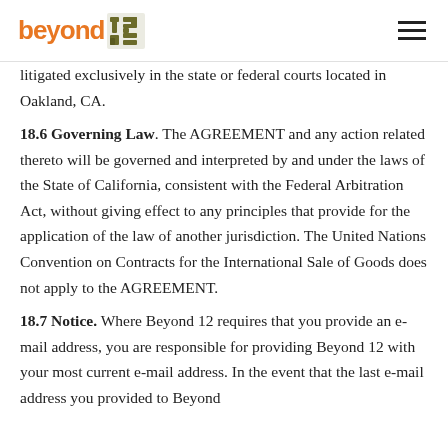beyond 12 [logo]
litigated exclusively in the state or federal courts located in Oakland, CA.
18.6 Governing Law.  The AGREEMENT and any action related thereto will be governed and interpreted by and under the laws of the State of California, consistent with the Federal Arbitration Act, without giving effect to any principles that provide for the application of the law of another jurisdiction.  The United Nations Convention on Contracts for the International Sale of Goods does not apply to the AGREEMENT.
18.7 Notice.  Where Beyond 12 requires that you provide an e-mail address, you are responsible for providing Beyond 12 with your most current e-mail address.  In the event that the last e-mail address you provided to Beyond